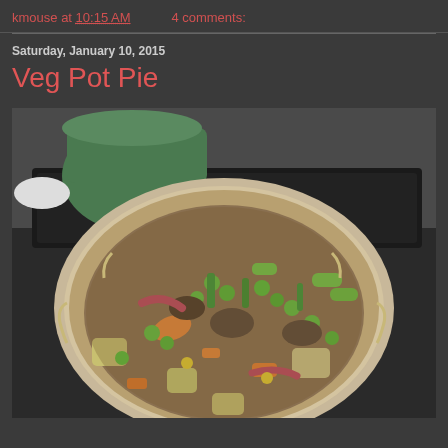kmouse at 10:15 AM   4 comments:
Saturday, January 10, 2015
Veg Pot Pie
[Figure (photo): A vegetable pot pie in a glass pie dish with crimped crust edges, filled with mixed vegetables including peas, carrots, potatoes, mushrooms, edamame, and other vegetables in a brown gravy sauce. Green dutch oven visible in background on a baking tray.]